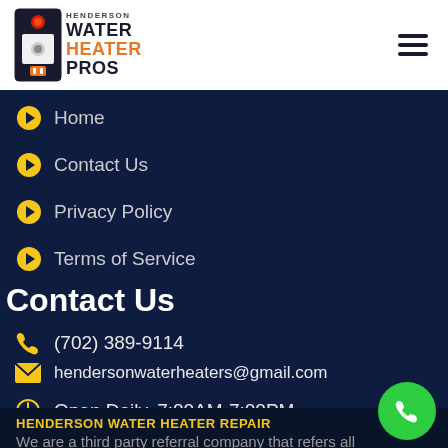Henderson Water Heater Pros — logo and hamburger menu
Home
Contact Us
Privacy Policy
Terms of Service
Contact Us
(702) 389-9114
hendersonwaterheaters@gmail.com
Open Daily, 7:00AM-7:00PM
HENDERSON WATER HEATER REPAIR
We are a third party referral company that refers all of our business to a licensed contractor in the state of Nevada. All business from this website is referred to a professional licensed & insured plumbing contractor.